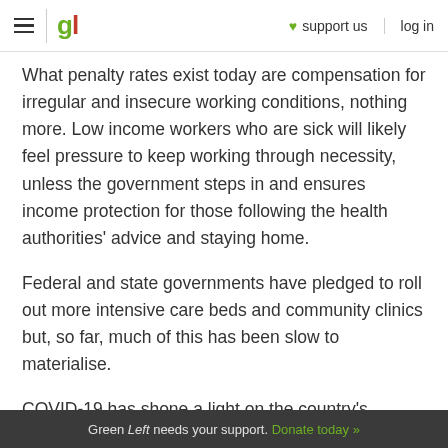gl | ♥ support us | log in
What penalty rates exist today are compensation for irregular and insecure working conditions, nothing more. Low income workers who are sick will likely feel pressure to keep working through necessity, unless the government steps in and ensures income protection for those following the health authorities' advice and staying home.
Federal and state governments have pledged to roll out more intensive care beds and community clinics but, so far, much of this has been slow to materialise.
COVID-19 has shone a light on the country's
Green Left needs your support. Donate today »